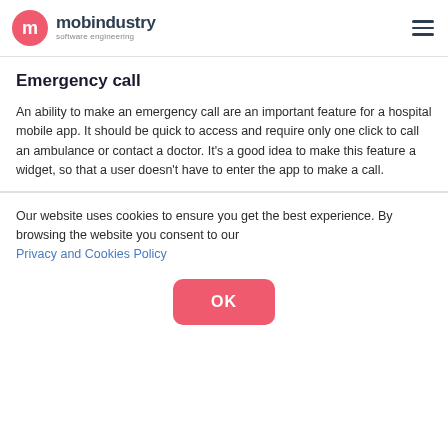mobindustry software engineering
Emergency call
An ability to make an emergency call are an important feature for a hospital mobile app. It should be quick to access and require only one click to call an ambulance or contact a doctor. It's a good idea to make this feature a widget, so that a user doesn't have to enter the app to make a call.
Our website uses cookies to ensure you get the best experience. By browsing the website you consent to our Privacy and Cookies Policy
OK